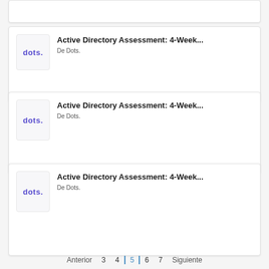[Figure (screenshot): Partial card at top, cropped]
Active Directory Assessment: 4-Week...
De Dots.
Active Directory Assessment: 4-Week...
De Dots.
Active Directory Assessment: 4-Week...
De Dots.
Anterior  3  4  5  6  7  Siguiente